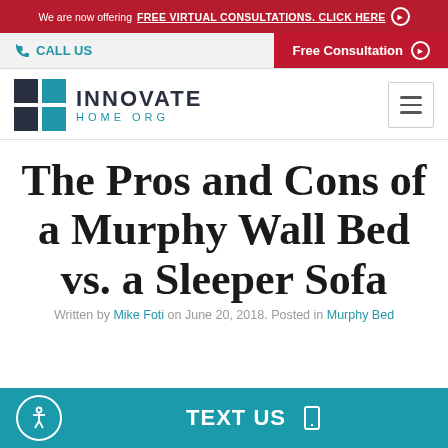We are now offering FREE VIRTUAL CONSULTATIONS. CLICK HERE
CALL US | Free Consultation
[Figure (logo): Innovate Home Org logo with grid icon]
The Pros and Cons of a Murphy Wall Bed vs. a Sleeper Sofa
Written by Mike Foti on June 20, 2018. Posted in Murphy Bed
TEXT US